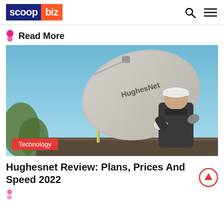scoop biz
Read More
[Figure (photo): A technician in a dark jacket and white cap leans over a HughesNet satellite dish mounted on a rooftop against a blue sky.]
Technology
Hughesnet Review: Plans, Prices And Speed 2022